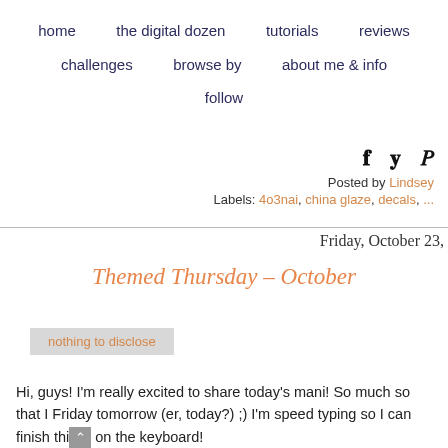home   the digital dozen   tutorials   reviews   challenges   browse by   about me & info   follow
Posted by Lindsey
Labels: 4o3nai, china glaze, decals, [more]
Friday, October 23,
Themed Thursday – October
nothing to disclose
Hi, guys! I'm really excited to share today's mani! So much so that I Friday tomorrow (er, today?) ;) I'm speed typing so I can finish thi on the keyboard!